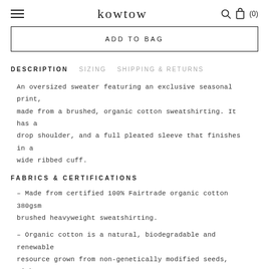kowtow
ADD TO BAG
DESCRIPTION   SIZING   SHIPPING & RETURNS
An oversized sweater featuring an exclusive seasonal print, made from a brushed, organic cotton sweatshirting. It has a drop shoulder, and a full pleated sleeve that finishes in a wide ribbed cuff.
FABRICS & CERTIFICATIONS
– Made from certified 100% Fairtrade organic cotton 380gsm brushed heavyweight sweatshirting.
– Organic cotton is a natural, biodegradable and renewable resource grown from non-genetically modified seeds, without harmful chemicals. It requires less water to grow than conventional cotton, and is rain-fed, hand-picked and processed using Global Organic Textile Standard (GOTS) allowed inks and